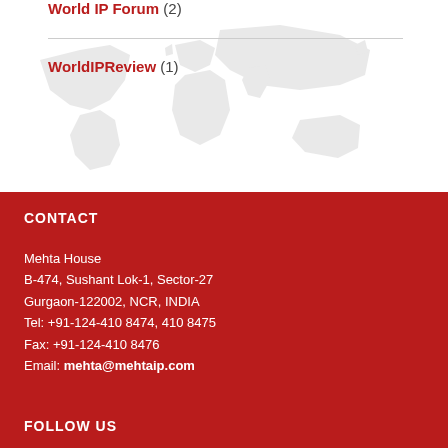World IP Forum (2)
WorldIPReview (1)
CONTACT
Mehta House
B-474, Sushant Lok-1, Sector-27
Gurgaon-122002, NCR, INDIA
Tel: +91-124-410 8474, 410 8475
Fax: +91-124-410 8476
Email: mehta@mehtaip.com
FOLLOW US